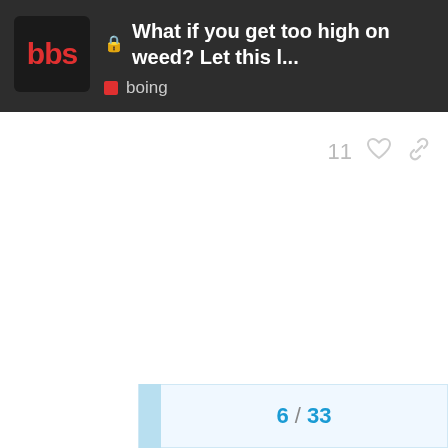bbs | What if you get too high on weed? Let this l... | boing
11 ♡ 🔗
6 / 33